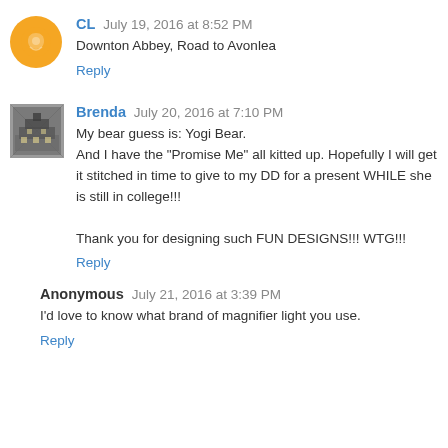CL  July 19, 2016 at 8:52 PM
Downton Abbey, Road to Avonlea
Reply
Brenda  July 20, 2016 at 7:10 PM
My bear guess is: Yogi Bear.
And I have the "Promise Me" all kitted up. Hopefully I will get it stitched in time to give to my DD for a present WHILE she is still in college!!!

Thank you for designing such FUN DESIGNS!!! WTG!!!
Reply
Anonymous  July 21, 2016 at 3:39 PM
I'd love to know what brand of magnifier light you use.
Reply